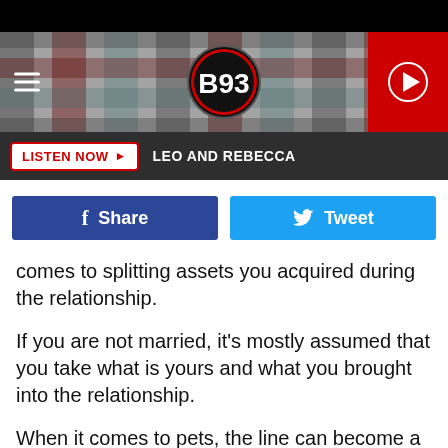[Figure (logo): B93 radio station header banner with plaid background pattern, hamburger menu icon on left, B93 circular logo in center, red play button on right]
[Figure (screenshot): Listen Now button bar with dark background, white Listen Now button with red text and play arrow, white text LEO AND REBECCA]
[Figure (screenshot): Social sharing buttons row: Facebook Share button (dark blue) and Tweet button (light blue)]
comes to splitting assets you acquired during the relationship.
If you are not married, it's mostly assumed that you take what is yours and what you brought into the relationship.
When it comes to pets, the line can become a little more blurred.
One woman took to Reddit explaining she is willing to take